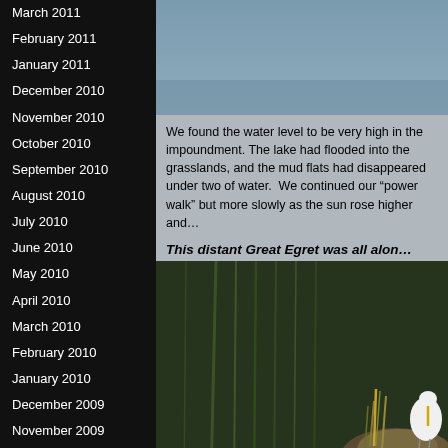March 2011
February 2011
January 2011
December 2010
November 2010
October 2010
September 2010
August 2010
July 2010
June 2010
May 2010
April 2010
March 2010
February 2010
January 2010
December 2009
November 2009
October 2009
September 2009
August 2009
July 2009
June 2009
May 2009
April 2009
March 2009
February 2009
[Figure (photo): Blue-gray sky/water background photo at top]
We found the water level to be very high in the impoundment. The lake had flooded into the grasslands, and the mud flats had disappeared under two of water. We continued our "power walk" but more slowly as the sun rose higher and...
This distant Great Egret was all alon...
[Figure (photo): A Great Egret standing on a rocky mound surrounded by water and reeds, with dark green reflective water background]